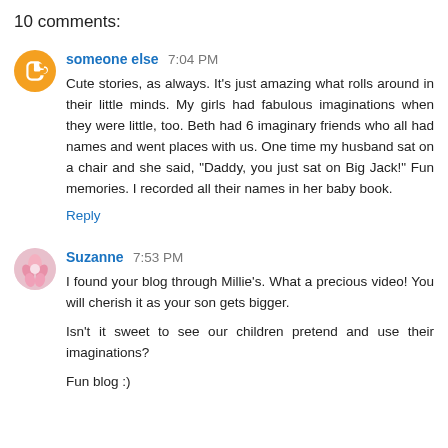10 comments:
someone else  7:04 PM
Cute stories, as always. It's just amazing what rolls around in their little minds. My girls had fabulous imaginations when they were little, too. Beth had 6 imaginary friends who all had names and went places with us. One time my husband sat on a chair and she said, "Daddy, you just sat on Big Jack!" Fun memories. I recorded all their names in her baby book.
Reply
Suzanne  7:53 PM
I found your blog through Millie's. What a precious video! You will cherish it as your son gets bigger.

Isn't it sweet to see our children pretend and use their imaginations?

Fun blog :)